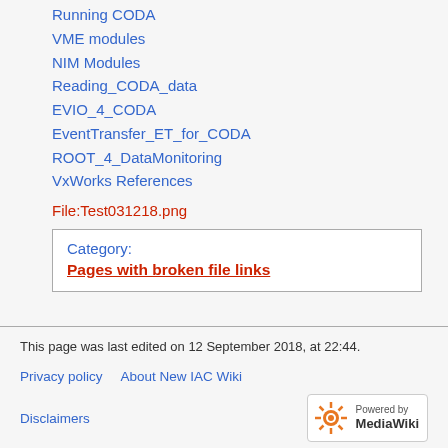Running CODA
VME modules
NIM Modules
Reading_CODA_data
EVIO_4_CODA
EventTransfer_ET_for_CODA
ROOT_4_DataMonitoring
VxWorks References
File:Test031218.png
| Category: |
| --- |
| Pages with broken file links |
This page was last edited on 12 September 2018, at 22:44.
Privacy policy   About New IAC Wiki
Disclaimers